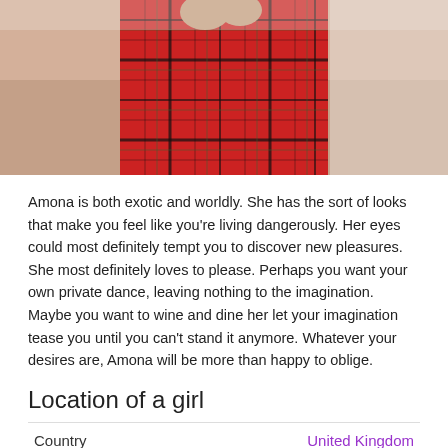[Figure (photo): Close-up photo of a person wearing a red plaid/tartan mini skirt, hands clasped at waist level, seated on a white surface]
Amona is both exotic and worldly. She has the sort of looks that make you feel like you're living dangerously. Her eyes could most definitely tempt you to discover new pleasures. She most definitely loves to please. Perhaps you want your own private dance, leaving nothing to the imagination. Maybe you want to wine and dine her let your imagination tease you until you can't stand it anymore. Whatever your desires are, Amona will be more than happy to oblige.
Location of a girl
|  |  |
| --- | --- |
| Country | United Kingdom |
| City | London |